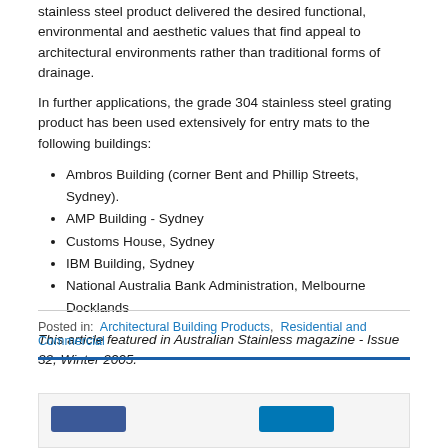stainless steel product delivered the desired functional, environmental and aesthetic values that find appeal to architectural environments rather than traditional forms of drainage.
In further applications, the grade 304 stainless steel grating product has been used extensively for entry mats to the following buildings:
Ambros Building (corner Bent and Phillip Streets, Sydney).
AMP Building - Sydney
Customs House, Sydney
IBM Building, Sydney
National Australia Bank Administration, Melbourne Docklands
This article featured in Australian Stainless magazine - Issue 32, Winter 2005.
Posted in: Architectural Building Products, Residential and Commercial